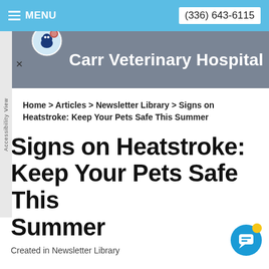MENU   (336) 643-6115
[Figure (logo): Carr Veterinary Hospital circular logo with animal silhouette]
Carr Veterinary Hospital
Home > Articles > Newsletter Library > Signs on Heatstroke: Keep Your Pets Safe This Summer
Signs on Heatstroke: Keep Your Pets Safe This Summer
Created in Newsletter Library